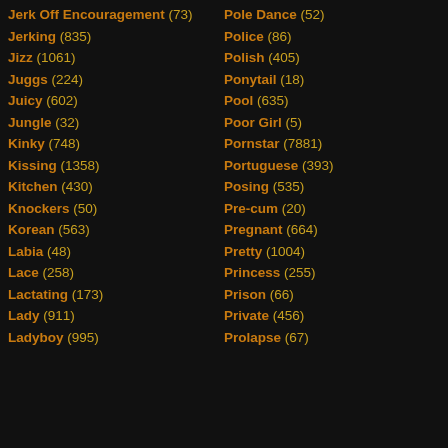Jerk Off Encouragement (73)
Jerking (835)
Jizz (1061)
Juggs (224)
Juicy (602)
Jungle (32)
Kinky (748)
Kissing (1358)
Kitchen (430)
Knockers (50)
Korean (563)
Labia (48)
Lace (258)
Lactating (173)
Lady (911)
Ladyboy (995)
Pole Dance (52)
Police (86)
Polish (405)
Ponytail (18)
Pool (635)
Poor Girl (5)
Pornstar (7881)
Portuguese (393)
Posing (535)
Pre-cum (20)
Pregnant (664)
Pretty (1004)
Princess (255)
Prison (66)
Private (456)
Prolapse (67)